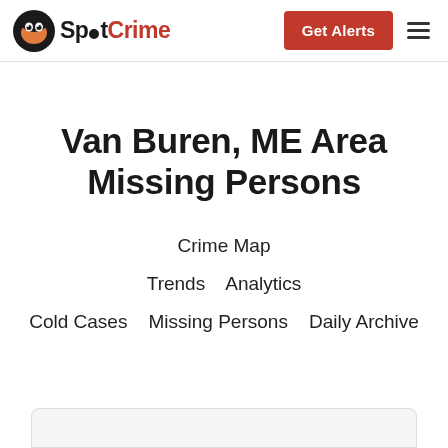SpotCrime — Get Alerts
Van Buren, ME Area Missing Persons
Crime Map
Trends   Analytics
Cold Cases   Missing Persons   Daily Archive